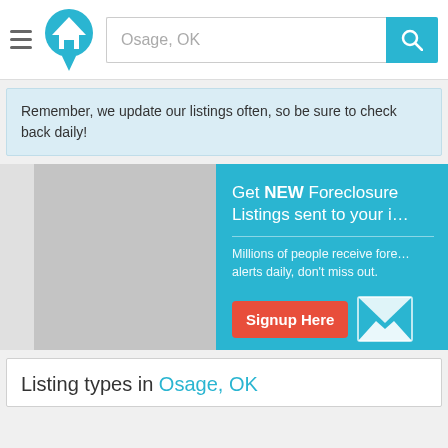[Figure (screenshot): Website header with hamburger menu, house logo, search input showing 'Osage, OK', and teal search button with magnifying glass icon]
Remember, we update our listings often, so be sure to check back daily!
[Figure (screenshot): Real estate listing page image area with gray placeholder images and a teal popup overlay reading 'Get NEW Foreclosure Listings sent to your inbox. Millions of people receive foreclosure alerts daily, don't miss out.' with a red Signup Here button and envelope icon, plus 'No Thanks | Remind Me Later' links]
Listing types in Osage, OK